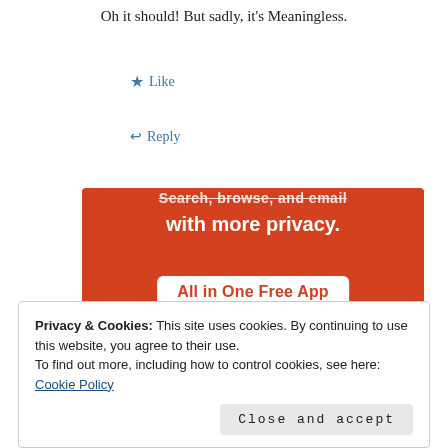Oh it should! But sadly, it's Meaningless.
★ Like
↩ Reply
[Figure (illustration): DuckDuckGo advertisement banner on orange background. Text reads 'Search, browse, and email with more privacy. All in One Free App'. Shows a smartphone with the DuckDuckGo duck logo.]
Privacy & Cookies: This site uses cookies. By continuing to use this website, you agree to their use.
To find out more, including how to control cookies, see here: Cookie Policy
Close and accept